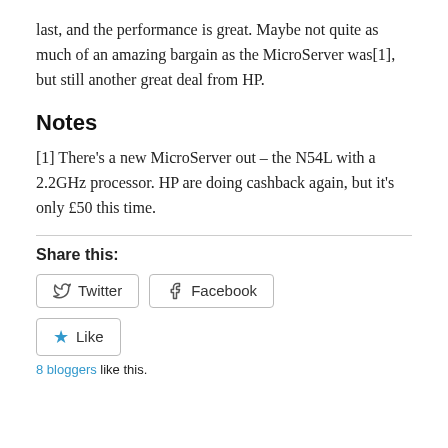last, and the performance is great. Maybe not quite as much of an amazing bargain as the MicroServer was[1], but still another great deal from HP.
Notes
[1] There’s a new MicroServer out – the N54L with a 2.2GHz processor. HP are doing cashback again, but it’s only £50 this time.
Share this:
[Figure (other): Twitter and Facebook share buttons, and a Like button with star icon. Text: 8 bloggers like this.]